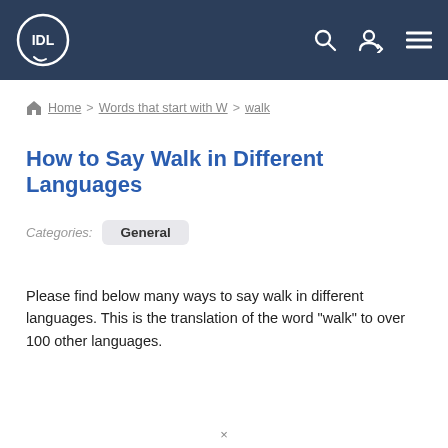IDL — header with logo and navigation icons
Home > Words that start with W > walk
How to Say Walk in Different Languages
Categories: General
Please find below many ways to say walk in different languages. This is the translation of the word "walk" to over 100 other languages.